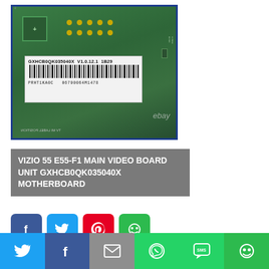[Figure (photo): Close-up photo of a green PCB motherboard with gold connector pins and a white label sticker showing model number GXHCB0QK035040X V1.0.12.1 1B29 with barcode and PRHT1KA0C 06790064M1478. eBay watermark visible. Flipped text at bottom reads TV MI LABEL POSITION.]
VIZIO 55 E55-F1 MAIN VIDEO BOARD UNIT GXHCB0QK035040X MOTHERBOARD
[Figure (infographic): Four social share buttons: Facebook (blue), Twitter (light blue), Pinterest (red), MeWe (green)]
[Figure (infographic): Bottom social share bar with Twitter, Facebook, Email, WhatsApp, SMS, and MeWe icons on colored backgrounds]